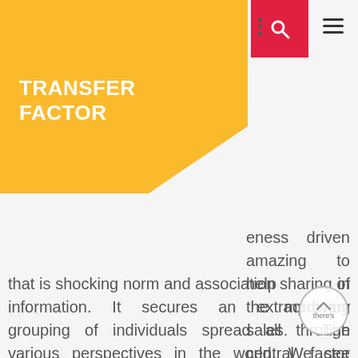TRANSFER FACTOR
eness driven amazing to help in the improving sales. The central factor for that is shocking norm and association sharing of information. It secures an extraordinary grouping of individuals spread all through various perspectives in the world. We see another business making to get included inside this opposing business sector little by little. To indeed make a tag inside this condition, you should have the fitting sort of properties that are connected in the reasonable time. To ensure about a future association, it is crucial utilizing the basically no resources sensibly sufficient to guarantee that there's no superfluous waste. In this way, it is basic for them to get a handle on the requirements of web propelling